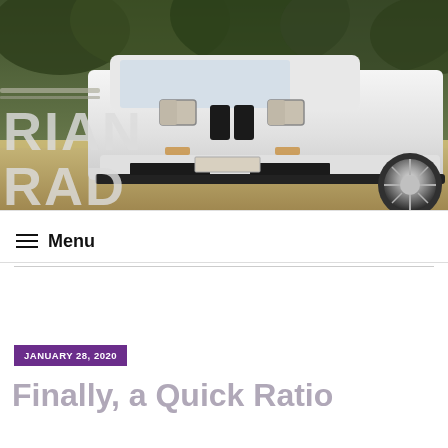[Figure (photo): Header photo of a white BMW E30 3-series parked in a dry outdoor setting with trees in background. Text overlay reads 'BRIAN CONRAD' in large light gray letters on the left side.]
≡  Menu
JANUARY 28, 2020
Finally, a Quick Ratio